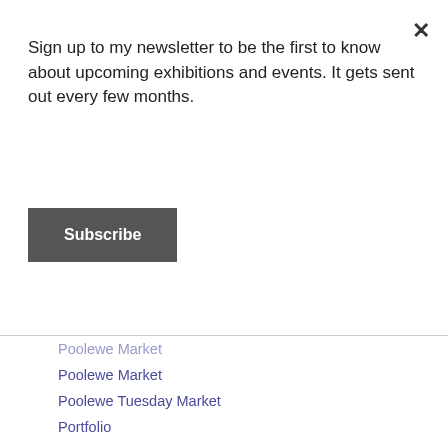Sign up to my newsletter to be the first to know about upcoming exhibitions and events. It gets sent out every few months.
Subscribe
Poolewe Market
Poolewe Tuesday Market
Portfolio
Portsoy
Postcards
Powerpoint
Printing
Printmaking
Prints
Procrastination
Products
Publishing
Radio
Read